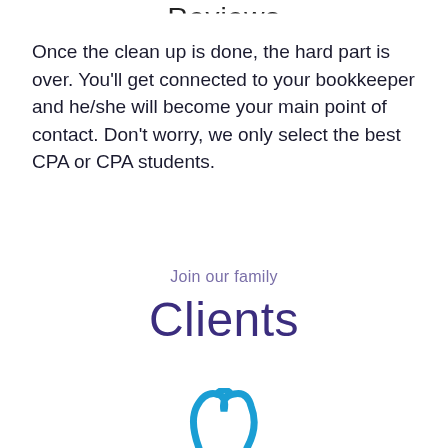Reviews
Once the clean up is done, the hard part is over. You'll get connected to your bookkeeper and he/she will become your main point of contact. Don't worry, we only select the best CPA or CPA students.
Join our family
Clients
[Figure (logo): Partial blue tooth/dental logo icon visible at bottom of page]